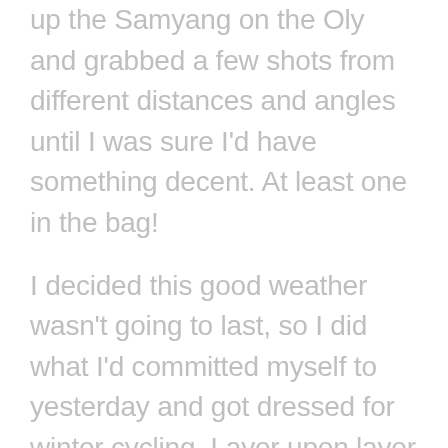up the Samyang on the Oly and grabbed a few shots from different distances and angles until I was sure I'd have something decent. At least one in the bag!
I decided this good weather wasn't going to last, so I did what I'd committed myself to yesterday and got dressed for winter cycling. Layer upon layer of thin clothes with shorts and longs, because the temperature was only just in double figures and it was just past midday. When Scamp returned with Tesco in two shopping bags, I left for a short run. Short runs never really stay short if the traffic is light and the light is good. That's how it was today. I tried to find some swallows because I thought